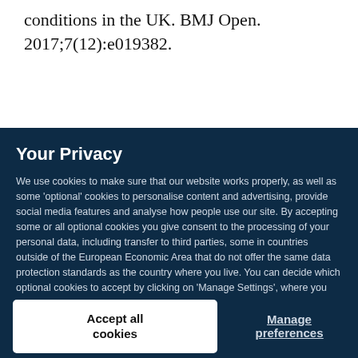conditions in the UK. BMJ Open. 2017;7(12):e019382.
Your Privacy
We use cookies to make sure that our website works properly, as well as some 'optional' cookies to personalise content and advertising, provide social media features and analyse how people use our site. By accepting some or all optional cookies you give consent to the processing of your personal data, including transfer to third parties, some in countries outside of the European Economic Area that do not offer the same data protection standards as the country where you live. You can decide which optional cookies to accept by clicking on 'Manage Settings', where you can also find more information about how your personal data is processed. Further information can be found in our privacy policy.
Accept all cookies
Manage preferences